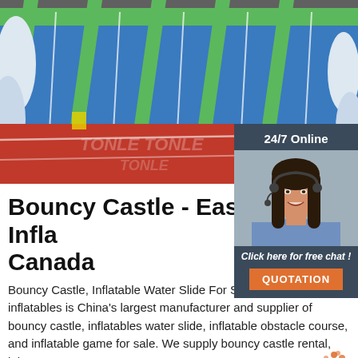[Figure (photo): Large inflatable water slide with blue, green and white colors on a red mat, photographed outdoors with watermark text TONLE in background]
[Figure (infographic): 24/7 Online chat widget showing a woman with headset, 'Click here for free chat!' text, and an orange QUOTATION button]
Bouncy Castle - East Inflatables Canada
Bouncy Castle, Inflatable Water Slide For Sale Canada. East inflatables is China's largest manufacturer and supplier of bouncy castle, inflatables water slide, inflatable obstacle course, and inflatable game for sale. We supply bouncy castle rental, leisure centers, event company,